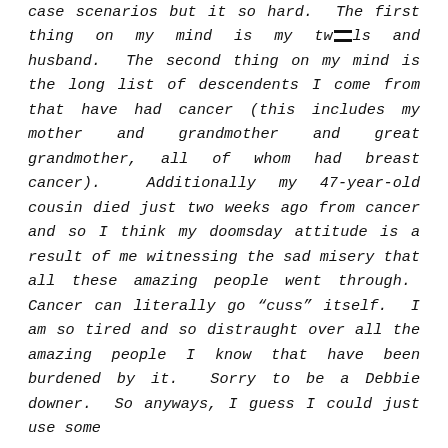case scenarios but it so hard.  The first thing on my mind is my twins and husband.  The second thing on my mind is the long list of descendents I come from that have had cancer (this includes my mother and grandmother and great grandmother, all of whom had breast cancer).  Additionally my 47-year-old cousin died just two weeks ago from cancer and so I think my doomsday attitude is a result of me witnessing the sad misery that all these amazing people went through.  Cancer can literally go "cuss" itself.  I am so tired and so distraught over all the amazing people I know that have been burdened by it.  Sorry to be a Debbie downer.  So anyways, I guess I could just use some